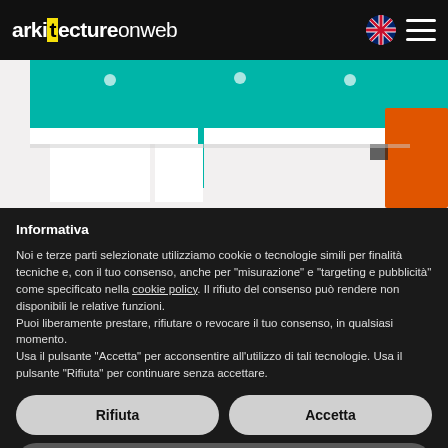arkitectureonweb
[Figure (photo): Interior architecture photo showing a room with a teal/turquoise overhead panel, white shelving units, and an orange panel on the right side]
Informativa
Noi e terze parti selezionate utilizziamo cookie o tecnologie simili per finalità tecniche e, con il tuo consenso, anche per “misurazione” e “targeting e pubblicità” come specificato nella cookie policy. Il rifiuto del consenso può rendere non disponibili le relative funzioni.
Puoi liberamente prestare, rifiutare o revocare il tuo consenso, in qualsiasi momento.
Usa il pulsante “Accetta” per acconsentire all’utilizzo di tali tecnologie. Usa il pulsante “Rifiuta” per continuare senza accettare.
Rifiuta
Accetta
Scopri di più e personalizza